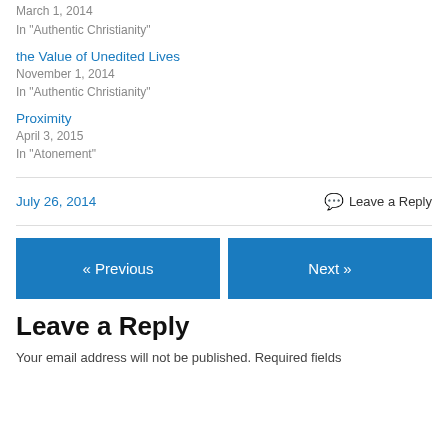March 1, 2014
In "Authentic Christianity"
the Value of Unedited Lives
November 1, 2014
In "Authentic Christianity"
Proximity
April 3, 2015
In "Atonement"
July 26, 2014
Leave a Reply
« Previous
Next »
Leave a Reply
Your email address will not be published. Required fields